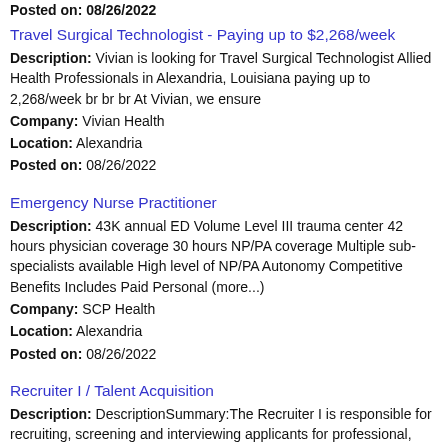Posted on: 08/26/2022
Travel Surgical Technologist - Paying up to $2,268/week
Description: Vivian is looking for Travel Surgical Technologist Allied Health Professionals in Alexandria, Louisiana paying up to 2,268/week br br br At Vivian, we ensure
Company: Vivian Health
Location: Alexandria
Posted on: 08/26/2022
Emergency Nurse Practitioner
Description: 43K annual ED Volume Level III trauma center 42 hours physician coverage 30 hours NP/PA coverage Multiple sub-specialists available High level of NP/PA Autonomy Competitive Benefits Includes Paid Personal (more...)
Company: SCP Health
Location: Alexandria
Posted on: 08/26/2022
Recruiter I / Talent Acquisition
Description: DescriptionSummary:The Recruiter I is responsible for recruiting, screening and interviewing applicants for professional,
Company: CHRISTUS Health
Location: Alexandria